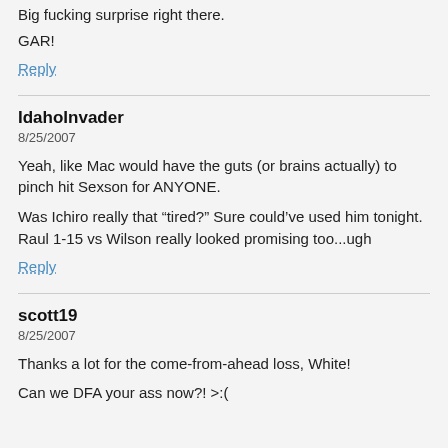Big fucking surprise right there.
GAR!
Reply
IdahoInvader
8/25/2007
Yeah, like Mac would have the guts (or brains actually) to pinch hit Sexson for ANYONE.
Was Ichiro really that “tired?” Sure could’ve used him tonight. Raul 1-15 vs Wilson really looked promising too...ugh
Reply
scott19
8/25/2007
Thanks a lot for the come-from-ahead loss, White!
Can we DFA your ass now?! >:(